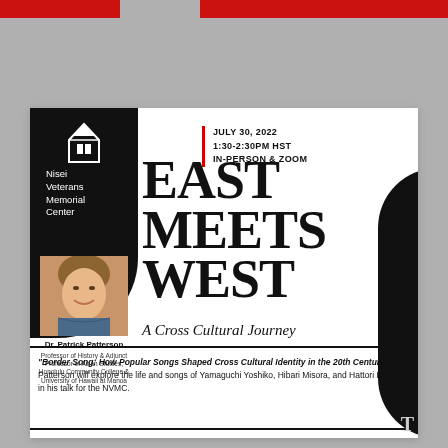[Figure (logo): Nisei Veterans Memorial Center logo - white building icon on black background]
Nisei Veterans Memorial Center
JULY 30, 2022
1:30-2:30PM HST
IN-PERSON & ZOOM
EAST MEETS WEST
A Cross Cultural Journey
[Figure (photo): Portrait photo of Dr. Patrick Patterson, smiling man in patterned shirt]
Dr. Patrick Patterson
Professor of History & Adjunct Professor of Asian Studies, Honolulu Community College & University of Hawaii at Manoa
"Border Song: How Popular Songs Shaped Cross Cultural Identity in the 20th Century." Dr. Patterson will explore the life and songs of Yamaguchi Yoshiko, Hibari Misora, and Hattori Ryōichi in his talk for the NVMC.